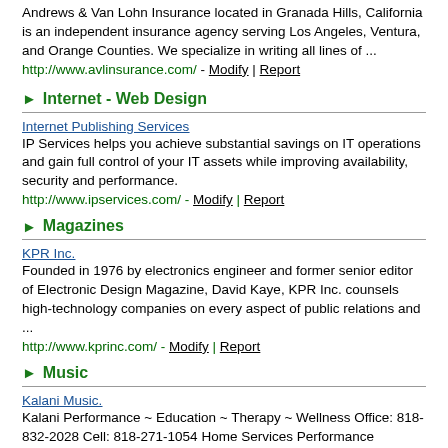Andrews & Van Lohn Insurance located in Granada Hills, California is an independent insurance agency serving Los Angeles, Ventura, and Orange Counties. We specialize in writing all lines of ...
http://www.avlinsurance.com/ - Modify | Report
Internet - Web Design
Internet Publishing Services
IP Services helps you achieve substantial savings on IT operations and gain full control of your IT assets while improving availability, security and performance.
http://www.ipservices.com/ - Modify | Report
Magazines
KPR Inc.
Founded in 1976 by electronics engineer and former senior editor of Electronic Design Magazine, David Kaye, KPR Inc. counsels high-technology companies on every aspect of public relations and ...
http://www.kprinc.com/ - Modify | Report
Music
Kalani Music.
Kalani Performance ~ Education ~ Therapy ~ Wellness Office: 818-832-2028 Cell: 818-271-1054 Home Services Performance Education Music Therapy Community Music Recording Coaching About Biography ...
http://kalanimusic.com/ - Modify | Report
Printing & Pre-press
Dan-d Graphics & Printing
Full Color and Spot Color Printing, Desktop Publishing, Web Sites, and Artwork